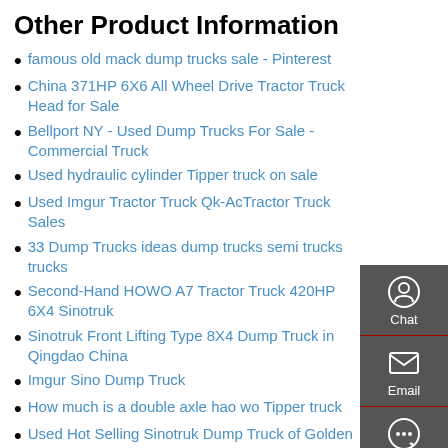Other Product Information
famous old mack dump trucks sale - Pinterest
China 371HP 6X6 All Wheel Drive Tractor Truck Head for Sale
Bellport NY - Used Dump Trucks For Sale - Commercial Truck
Used hydraulic cylinder Tipper truck on sale
Used Imgur Tractor Truck Qk-AcTractor Truck Sales
33 Dump Trucks ideas dump trucks semi trucks trucks
Second-Hand HOWO A7 Tractor Truck 420HP 6X4 Sinotruk
Sinotruk Front Lifting Type 8X4 Dump Truck in Qingdao China
Imgur Sino Dump Truck
How much is a double axle hao wo Tipper truck
Used Hot Selling Sinotruk Dump Truck of Golden Prince 6 4
Used Low price Dump truck 15 tons Dump truck for sand